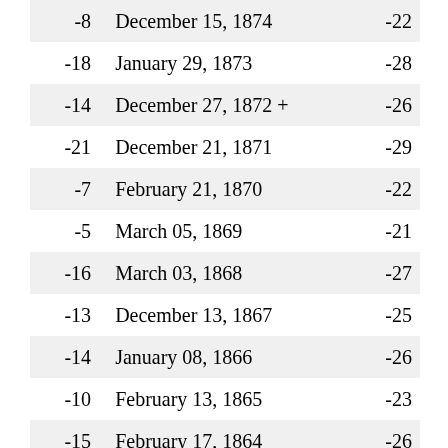| Col1 | Date | Col3 |
| --- | --- | --- |
| -8 | December 15, 1874 | -22 |
| -18 | January 29, 1873 | -28 |
| -14 | December 27, 1872 + | -26 |
| -21 | December 21, 1871 | -29 |
| -7 | February 21, 1870 | -22 |
| -5 | March 05, 1869 | -21 |
| -16 | March 03, 1868 | -27 |
| -13 | December 13, 1867 | -25 |
| -14 | January 08, 1866 | -26 |
| -10 | February 13, 1865 | -23 |
| -15 | February 17, 1864 | -26 |
| -20 | February 04, 1863 | -29 |
| -5 | February 25, 1862 + | -21 |
| -21 | February 08, 1861 | -29 |
| -9 | February 01, 1860 | -23 |
| -27 | January 10, 1859 | -33 |